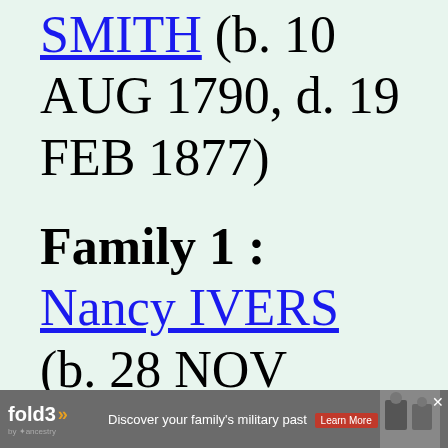SMITH (b. 10 AUG 1790, d. 19 FEB 1877)
Family 1 : Nancy IVERS (b. 28 NOV 1833, d. 31
[Figure (other): fold3 by Ancestry advertisement banner: 'Discover your family's military past' with Learn More button and a black and white photo of soldiers]